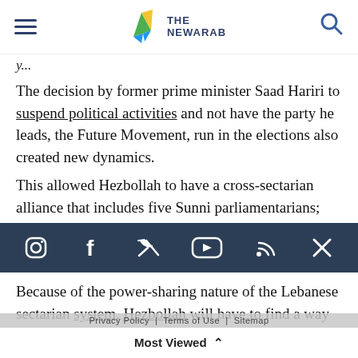THE NEWARAB
y...
The decision by former prime minister Saad Hariri to suspend political activities and not have the party he leads, the Future Movement, run in the elections also created new dynamics.
This allowed Hezbollah to have a cross-sectarian alliance that includes five Sunni parliamentarians;
[Figure (other): Social media icons bar: Instagram, Facebook, Twitter, YouTube, RSS, X on dark navy background]
Because of the power-sharing nature of the Lebanese sectarian system, Hezbollah will have to find a way to use the carrot and the stick in dealing
Privacy Policy | Terms of Use | Sitemap
Most Viewed ^